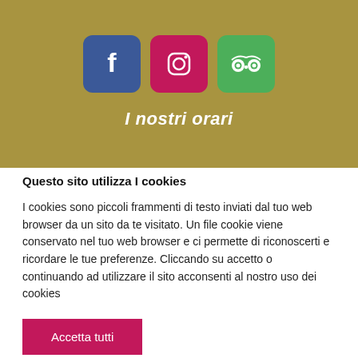[Figure (illustration): Golden/tan banner with three social media icons: Facebook (blue rounded square), Instagram (pink/magenta rounded square), TripAdvisor (green rounded square)]
I nostri orari
Questo sito utilizza I cookies
I cookies sono piccoli frammenti di testo inviati dal tuo web browser da un sito da te visitato. Un file cookie viene conservato nel tuo web browser e ci permette di riconoscerti e ricordare le tue preferenze. Cliccando su accetto o continuando ad utilizzare il sito acconsenti al nostro uso dei cookies